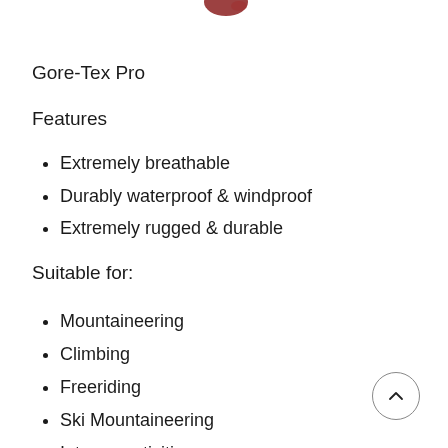[Figure (photo): Partial product image visible at top of page, cropped at the top edge]
Gore-Tex Pro
Features
Extremely breathable
Durably waterproof & windproof
Extremely rugged & durable
Suitable for:
Mountaineering
Climbing
Freeriding
Ski Mountaineering
Intense activities